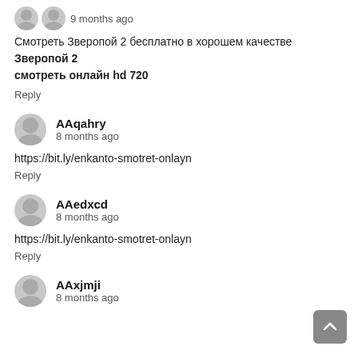9 months ago
Смотреть Зверопой 2 бесплатно в хорошем качестве Зверопой 2 смотреть онлайн hd 720
Reply
AAqahry
8 months ago
https://bit.ly/enkanto-smotret-onlayn
Reply
AAedxcd
8 months ago
https://bit.ly/enkanto-smotret-onlayn
Reply
AAxjmji
8 months ago